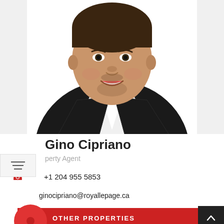[Figure (photo): Professional headshot of Gino Cipriano, a man in a black suit with white shirt, smiling, on white background]
Gino Cipriano
Property Agent
+1 204 955 5853
ginocipriano@royallepage.ca
OTHER PROPERTIES